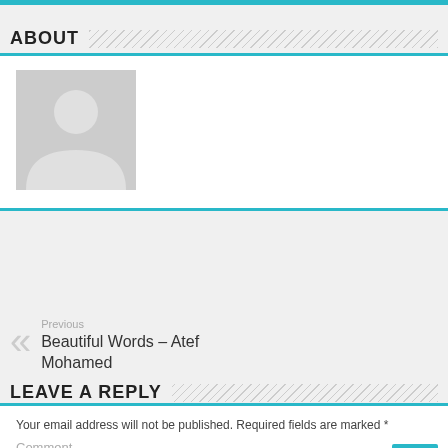ABOUT
[Figure (illustration): Gray placeholder avatar image showing a silhouette person icon]
Previous
Beautiful Words – Atef Mohamed
LEAVE A REPLY
Your email address will not be published. Required fields are marked *
Comment